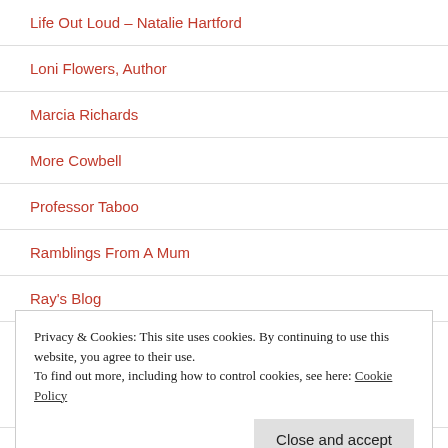Life Out Loud – Natalie Hartford
Loni Flowers, Author
Marcia Richards
More Cowbell
Professor Taboo
Ramblings From A Mum
Ray's Blog
Privacy & Cookies: This site uses cookies. By continuing to use this website, you agree to their use.
To find out more, including how to control cookies, see here: Cookie Policy
Shanpagne All Around